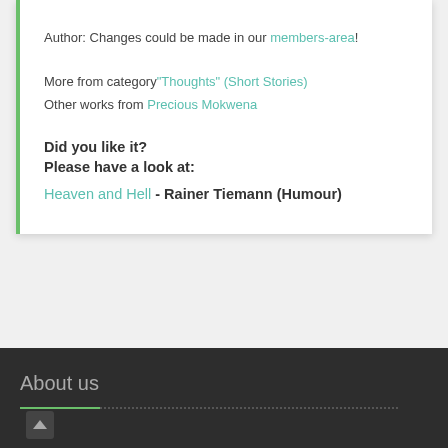Author: Changes could be made in our members-area!
More from category"Thoughts" (Short Stories)
Other works from Precious Mokwena
Did you like it?
Please have a look at:
Heaven and Hell - Rainer Tiemann (Humour)
About us